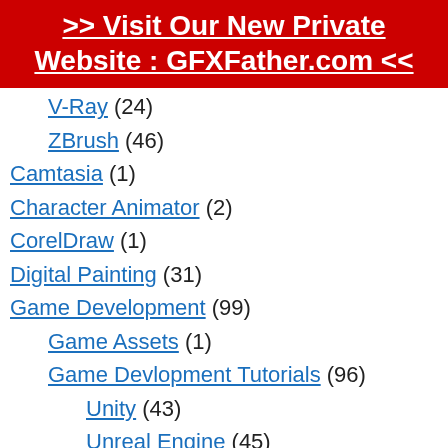>> Visit Our New Private Website : GFXFather.com <<
V-Ray (24)
ZBrush (46)
Camtasia (1)
Character Animator (2)
CorelDraw (1)
Digital Painting (31)
Game Development (99)
Game Assets (1)
Game Devlopment Tutorials (96)
Unity (43)
Unreal Engine (45)
Graphics Fundamentals (94)